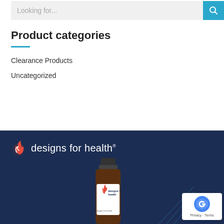Looking for...
Product categories
Clearance Products
Uncategorized
[Figure (illustration): Designs for Health brand banner with logo and supplement bottle on dark navy background]